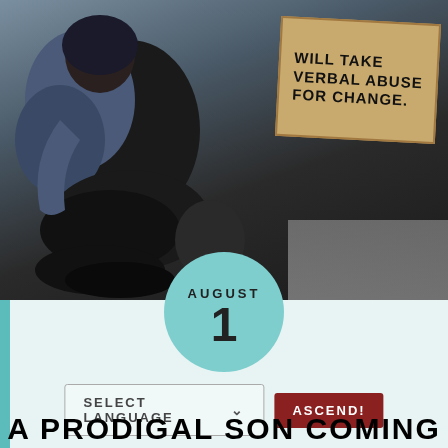[Figure (photo): Photograph of a person sitting on the ground holding a cardboard sign that reads 'WILL TAKE VERBAL ABUSE FOR CHANGE.' The person is dressed in dark clothing and appears to be homeless, sitting on a sidewalk.]
AUGUST
1
SELECT LANGUAGE
ASCEND!
A PRODIGAL SON COMING